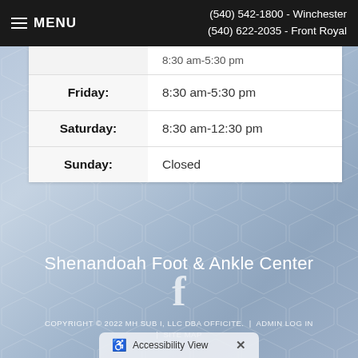MENU | (540) 542-1800 - Winchester | (540) 622-2035 - Front Royal
| Day | Hours |
| --- | --- |
|  | 8:30 am-5:30 pm |
| Friday: | 8:30 am-5:30 pm |
| Saturday: | 8:30 am-12:30 pm |
| Sunday: | Closed |
Shenandoah Foot & Ankle Center
[Figure (logo): Facebook logo icon (f) in white]
COPYRIGHT © 2022 MH SUB I, LLC DBA OFFICITE.  |  ADMIN LOG IN  |  SITE MAP
Accessibility View